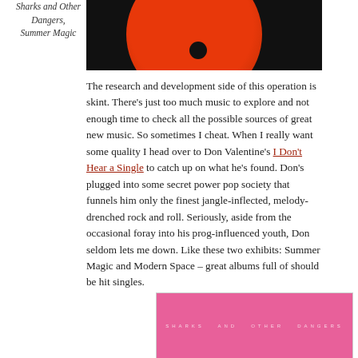Sharks and Other Dangers, Summer Magic
[Figure (photo): Close-up of a vinyl record with an orange/red label on dark background]
The research and development side of this operation is skint. There's just too much music to explore and not enough time to check all the possible sources of great new music. So sometimes I cheat. When I really want some quality I head over to Don Valentine's I Don't Hear a Single to catch up on what he's found. Don's plugged into some secret power pop society that funnels him only the finest jangle-inflected, melody-drenched rock and roll. Seriously, aside from the occasional foray into his prog-influenced youth, Don seldom lets me down. Like these two exhibits: Summer Magic and Modern Space – great albums full of should be hit singles.
[Figure (photo): Pink album cover with small white text, partially visible at bottom of page]